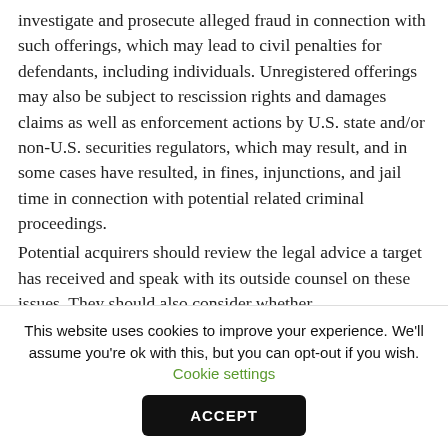investigate and prosecute alleged fraud in connection with such offerings, which may lead to civil penalties for defendants, including individuals. Unregistered offerings may also be subject to rescission rights and damages claims as well as enforcement actions by U.S. state and/or non-U.S. securities regulators, which may result, and in some cases have resulted, in fines, injunctions, and jail time in connection with potential related criminal proceedings.
Potential acquirers should review the legal advice a target has received and speak with its outside counsel on these issues. They should also consider whether
This website uses cookies to improve your experience. We'll assume you're ok with this, but you can opt-out if you wish. Cookie settings